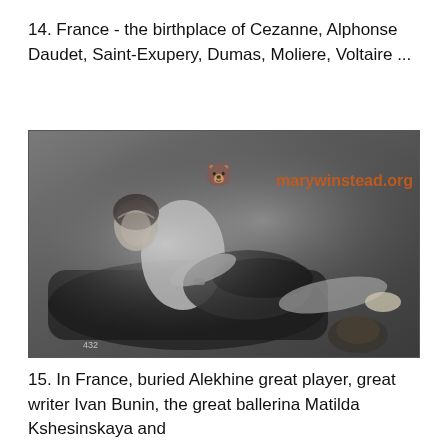14. France - the birthplace of Cezanne, Alphonse Daudet, Saint-Exupery, Dumas, Moliere, Voltaire ...
[Figure (photo): Vintage black-and-white photograph of a woman in early 20th century dance or theatrical costume, reclining on a dark surface. She wears a light sleeveless top and a dark skirt with ruffles. Watermark overlay: bear emoji and 'marywinstead.org'. Number '432' visible at bottom left.]
15. In France, buried Alekhine great player, great writer Ivan Bunin, the great ballerina Matilda Kshesinskaya and